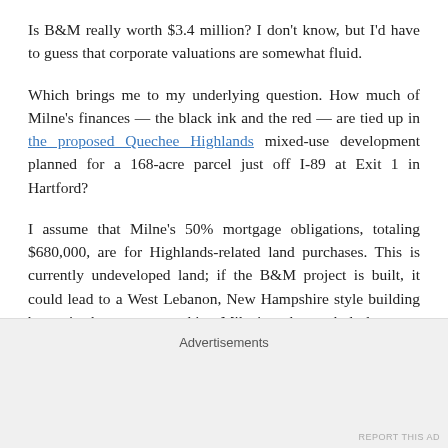Is B&M really worth $3.4 million? I don't know, but I'd have to guess that corporate valuations are somewhat fluid.
Which brings me to my underlying question. How much of Milne's finances — the black ink and the red — are tied up in the proposed Quechee Highlands mixed-use development planned for a 168-acre parcel just off I-89 at Exit 1 in Hartford?
I assume that Milne's 50% mortgage obligations, totaling $680,000, are for Highlands-related land purchases. This is currently undeveloped land; if the B&M project is built, it could lead to a West Lebanon, New Hampshire style building boom in that area — making Milne's stake a whole lot more valuable.
Advertisements